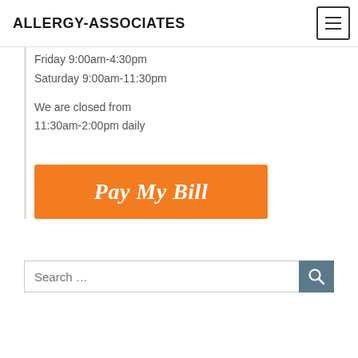ALLERGY-ASSOCIATES
Friday 9:00am-4:30pm
Saturday 9:00am-11:30pm
We are closed from
11:30am-2:00pm daily
[Figure (other): Orange 'Pay My Bill' button with italic script text]
[Figure (other): Search bar with text 'Search ...' and a search button with magnifying glass icon]